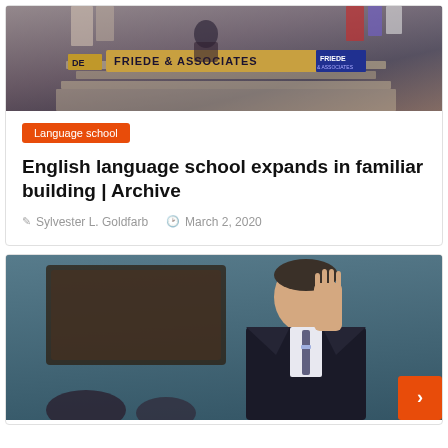[Figure (photo): Photo of a building interior with a 'Friede & Associates' sign banner visible, people in background]
Language school
English language school expands in familiar building | Archive
Sylvester L. Goldfarb   March 2, 2020
[Figure (photo): Photo of a man in a suit raising his hand, speaking in what appears to be a formal chamber setting with blue walls]